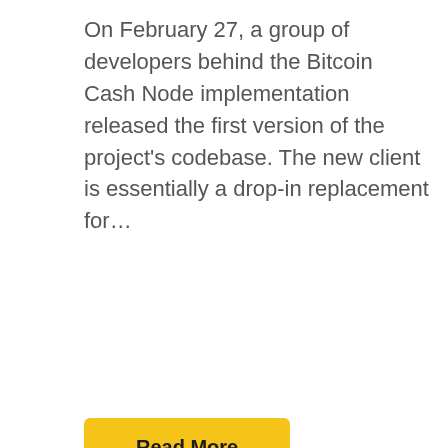On February 27, a group of developers behind the Bitcoin Cash Node implementation released the first version of the project's codebase. The new client is essentially a drop-in replacement for...
Read More
[Figure (photo): Black rectangular image block, content not visible]